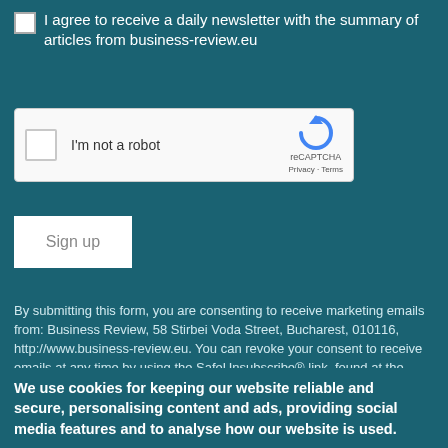I agree to receive a daily newsletter with the summary of articles from business-review.eu
[Figure (screenshot): reCAPTCHA widget with checkbox labeled 'I'm not a robot' and reCAPTCHA branding logo with Privacy and Terms links]
[Figure (screenshot): Sign up button (white rectangle with gray 'Sign up' text)]
By submitting this form, you are consenting to receive marketing emails from: Business Review, 58 Stirbei Voda Street, Bucharest, 010116, http://www.business-review.eu. You can revoke your consent to receive emails at any time by using the SafeUnsubscribe® link, found at the bottom
We use cookies for keeping our website reliable and secure, personalising content and ads, providing social media features and to analyse how our website is used.
Terms and conditions   Cookie Policy   Privacy policy
ACCEPT & CONTINUE